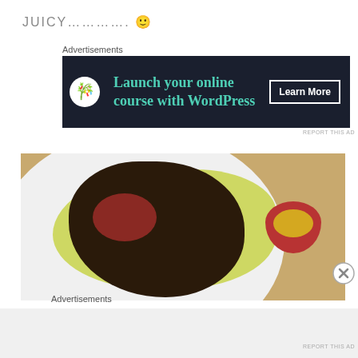JUICY…………. 🙂
Advertisements
[Figure (screenshot): Dark-themed advertisement banner for launching an online course with WordPress. Features a bonsai tree icon on the left, teal-colored text 'Launch your online course with WordPress', and a 'Learn More' button with white border on the right.]
REPORT THIS AD
[Figure (photo): Food photograph showing a lentil salad with red pepper pieces on a bed of lettuce/cabbage leaves, served on a white plate. A small red ceramic bowl with yellow mustard or sauce is visible on the right side. The plate is on a wooden surface.]
[Figure (other): Close/dismiss button (circle with X)]
Advertisements
REPORT THIS AD